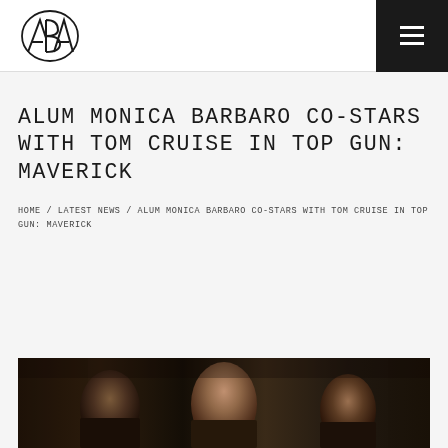ABA logo and navigation menu
ALUM MONICA BARBARO CO-STARS WITH TOM CRUISE IN TOP GUN: MAVERICK
HOME / LATEST NEWS / ALUM MONICA BARBARO CO-STARS WITH TOM CRUISE IN TOP GUN: MAVERICK
[Figure (photo): Three people (actors) in a dark cinematic scene, appears to be a still from Top Gun: Maverick]